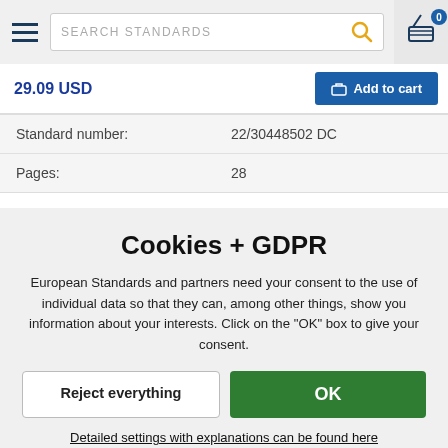[Figure (screenshot): Navigation header with hamburger menu, search box labeled SEARCH STANDARDS with magnifying glass icon, and shopping cart icon with badge showing 0]
29.09 USD
Add to cart
| Standard number: | 22/30448502 DC |
| Pages: | 28 |
Cookies + GDPR
European Standards and partners need your consent to the use of individual data so that they can, among other things, show you information about your interests. Click on the "OK" box to give your consent.
Reject everything
OK
Detailed settings with explanations can be found here